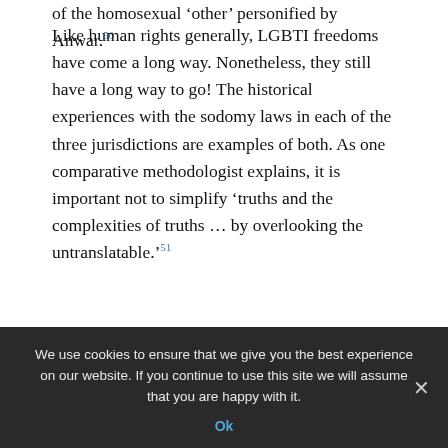of the homosexual 'other' personified by Anwar.50
Like human rights generally, LGBTI freedoms have come a long way. Nonetheless, they still have a long way to go! The historical experiences with the sodomy laws in each of the three jurisdictions are examples of both. As one comparative methodologist explains, it is important not to simplify 'truths and the complexities of truths … by overlooking the untranslatable.'51
III. The United States, Australian and Malaysian Experiences with Sodomy Laws
A. A Brief Overview
In the United States, sodomy remained a crime until the mid-twentieth century.52 When the United States Supreme Court had occasion to pass upon the
We use cookies to ensure that we give you the best experience on our website. If you continue to use this site we will assume that you are happy with it.